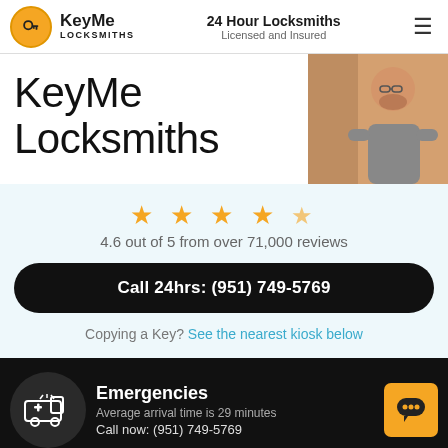KeyMe Locksmiths | 24 Hour Locksmiths Licensed and Insured
KeyMe Locksmiths
[Figure (photo): Photo of a locksmith professional working]
4.6 out of 5 from over 71,000 reviews
Call 24hrs: (951) 749-5769
Copying a Key? See the nearest kiosk below
Emergencies
Average arrival time is 29 minutes
Call now: (951) 749-5769